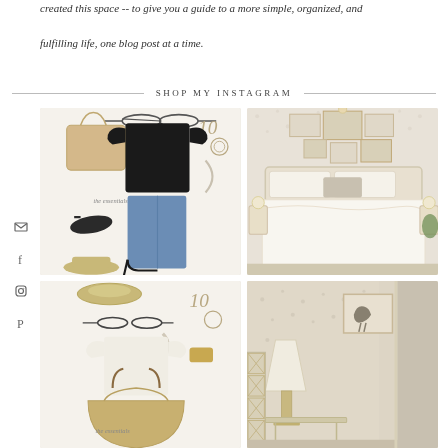created this space -- to give you a guide to a more simple, organized, and fulfilling life, one blog post at a time.
SHOP MY INSTAGRAM
[Figure (photo): Fashion flat lay with black top, jeans, accessories, sunglasses, bag, shoes, with handwritten-style labels and '10 the essentials' text]
[Figure (photo): Styled bedroom with white bedding, gallery wall of framed photos, floral wallpaper, wooden bed frame]
[Figure (photo): Second fashion flat lay with cream top, straw hat, sunglasses, scarf, watch, accessories]
[Figure (photo): Room corner with lamp, framed horse art, floral wallpaper, cabinet detail]